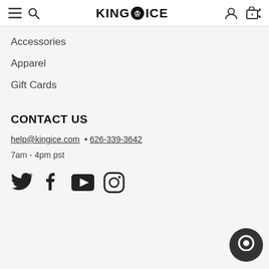KING ICE — navigation header with hamburger, search, logo, account, cart icons
Accessories
Apparel
Gift Cards
CONTACT US
help@kingice.com  •  626-339-3642
7am - 4pm pst
[Figure (infographic): Social media icons row: Twitter, Facebook, YouTube, Instagram]
[Figure (infographic): Chat bubble button in bottom right corner]